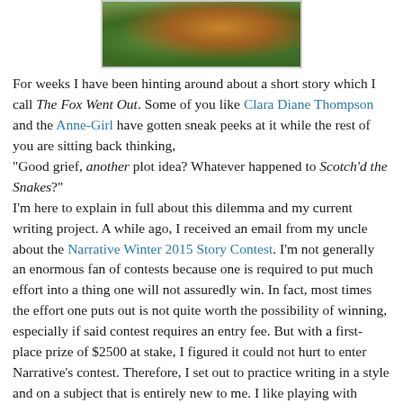[Figure (photo): Partial photo of a fox or animal among green foliage, shown at top of page, cropped.]
For weeks I have been hinting around about a short story which I call The Fox Went Out. Some of you like Clara Diane Thompson and the Anne-Girl have gotten sneak peeks at it while the rest of you are sitting back thinking, "Good grief, another plot idea? Whatever happened to Scotch'd the Snakes?" I'm here to explain in full about this dilemma and my current writing project. A while ago, I received an email from my uncle about the Narrative Winter 2015 Story Contest. I'm not generally an enormous fan of contests because one is required to put much effort into a thing one will not assuredly win. In fact, most times the effort one puts out is not quite worth the possibility of winning, especially if said contest requires an entry fee. But with a first-place prize of $2500 at stake, I figured it could not hurt to enter Narrative's contest. Therefore, I set out to practice writing in a style and on a subject that is entirely new to me. I like playing with different voices and emotions to keep things fresh. And since the deadline of March 31 approaches and I still have not finished the first draft I have considerable cause for continuing...